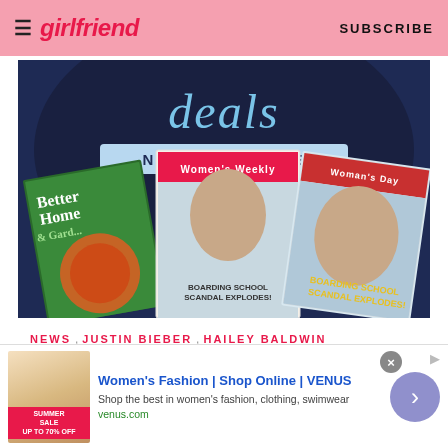girlfriend | SUBSCRIBE
[Figure (photo): Advertisement banner for magazine deals showing Better Homes and Gardens, Women's Weekly, and Woman's Day magazine covers on a dark navy background with 'deals NOW AVAILABLE' text]
NEWS,   JUSTIN BIEBER,   HAILEY BALDWIN
Bianca Mastroianni
[Figure (screenshot): Advertisement for Women's Fashion | Shop Online | VENUS. Shows summer sale imagery. Text: Women's Fashion | Shop Online | VENUS, Shop the best in women's fashion, clothing, swimwear, venus.com]